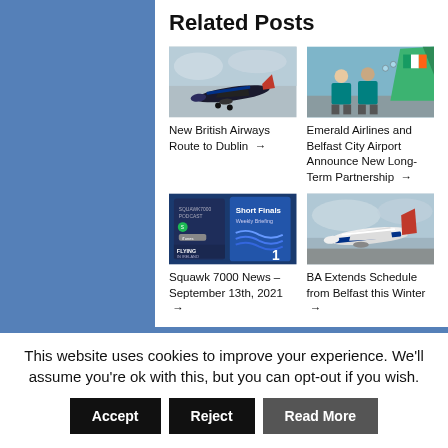Related Posts
[Figure (photo): British Airways airplane landing or taking off against grey sky]
New British Airways Route to Dublin →
[Figure (photo): Two Emerald Airlines staff members standing in front of green Aer Lingus Regional aircraft tail]
Emerald Airlines and Belfast City Airport Announce New Long-Term Partnership →
[Figure (photo): Short Finals Weekly Briefing podcast cover with Flying in Ireland branding]
Squawk 7000 News – September 13th, 2021 →
[Figure (photo): British Airways airplane on approach against grey overcast sky]
BA Extends Schedule from Belfast this Winter →
This website uses cookies to improve your experience. We'll assume you're ok with this, but you can opt-out if you wish.